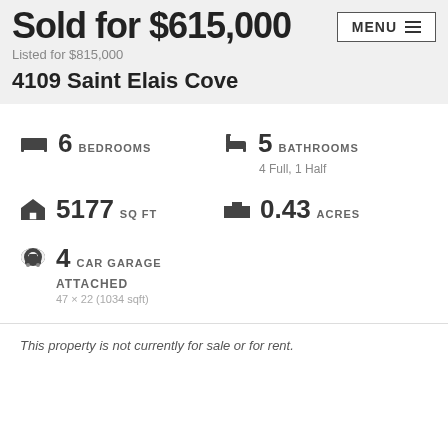Sold for $615,000
Listed for $815,000
4109 Saint Elais Cove
6 BEDROOMS
5 BATHROOMS
4 Full, 1 Half
5177 SQ FT
0.43 ACRES
4 CAR GARAGE
ATTACHED
47 × 22 (1034 sqft)
This property is not currently for sale or for rent.